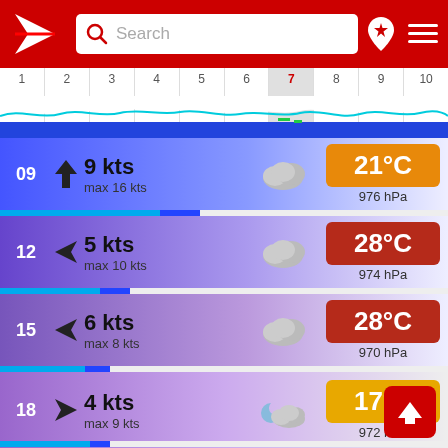[Figure (screenshot): Weather app screenshot showing wind and temperature forecast for times 09, 12, 15, 18, 21. App has red header with search bar, timeline with day numbers 1-10 (day 7 highlighted), and weather rows showing wind speed in kts, cloud icon, temperature badge, and pressure in hPa.]
09  9 kts  max 16 kts  21°C  976 hPa
12  5 kts  max 10 kts  28°C  974 hPa
15  6 kts  max 8 kts  28°C  970 hPa
18  4 kts  max 9 kts  17°C  972 hPa
21  4 kts  max 6 kts  17°C  974 hPa